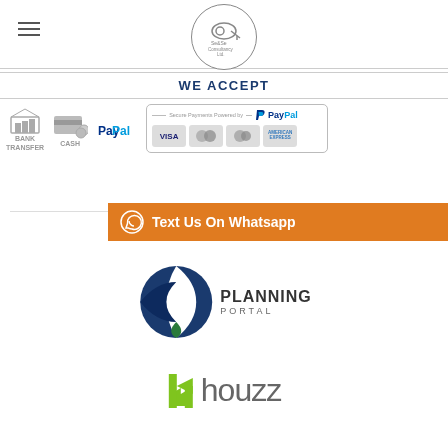[Figure (logo): Se&Se Consultancy Ltd logo in a circle with hamburger menu icon on left]
WE ACCEPT
[Figure (infographic): Payment methods: Bank Transfer, Cash, PayPal, with Secure Payments Powered by PayPal box showing Visa, MasterCard, Maestro, American Express card icons]
WE ARE WO...
[Figure (infographic): Orange WhatsApp banner: Text Us On Whatsapp]
[Figure (logo): Planning Portal logo with blue/green globe and text PLANNING PORTAL]
[Figure (logo): Houzz logo with green h icon and houzz text]